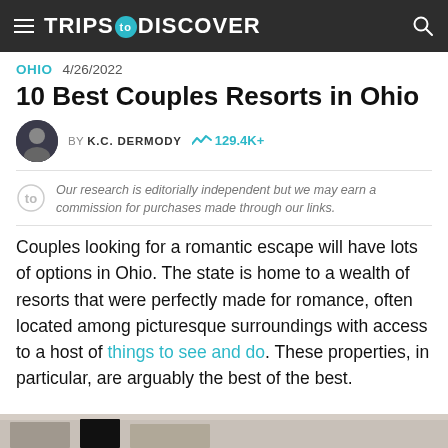TRIPS TO DISCOVER
OHIO  4/26/2022
10 Best Couples Resorts in Ohio
BY K.C. DERMODY  129.4K+
Our research is editorially independent but we may earn a commission for purchases made through our links.
Couples looking for a romantic escape will have lots of options in Ohio. The state is home to a wealth of resorts that were perfectly made for romance, often located among picturesque surroundings with access to a host of things to see and do. These properties, in particular, are arguably the best of the best.
[Figure (photo): Bottom edge of a photo visible at the bottom of the page]